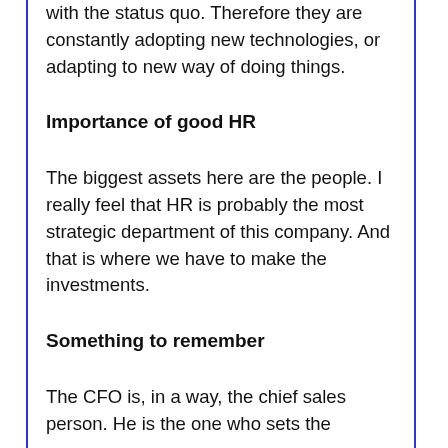with the status quo. Therefore they are constantly adopting new technologies, or adapting to new way of doing things.
Importance of good HR
The biggest assets here are the people. I really feel that HR is probably the most strategic department of this company. And that is where we have to make the investments.
Something to remember
The CFO is, in a way, the chief sales person. He is the one who sets the